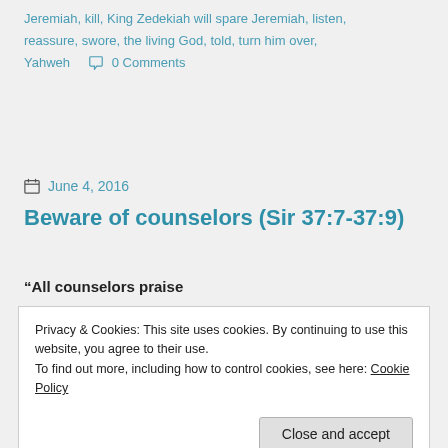Jeremiah, kill, King Zedekiah will spare Jeremiah, listen, reassure, swore, the living God, told, turn him over, Yahweh    💬 0 Comments
🗓 June 4, 2016
Beware of counselors (Sir 37:7-37:9)
“All counselors praise
Privacy & Cookies: This site uses cookies. By continuing to use this website, you agree to their use.
To find out more, including how to control cookies, see here: Cookie Policy
Close and accept